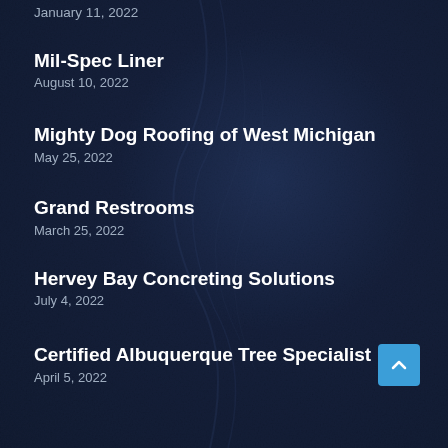January 11, 2022
Mil-Spec Liner
August 10, 2022
Mighty Dog Roofing of West Michigan
May 25, 2022
Grand Restrooms
March 25, 2022
Hervey Bay Concreting Solutions
July 4, 2022
Certified Albuquerque Tree Specialist
April 5, 2022